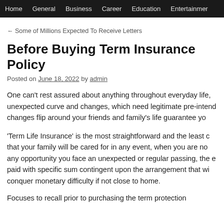Home  General  Business  Career  Education  Entertainment
← Some of Millions Expected To Receive Letters
Before Buying Term Insurance Policy
Posted on June 18, 2022 by admin
One can't rest assured about anything throughout everyday life, unexpected curve and changes, which need legitimate pre-intended changes flip around your friends and family's life guarantee you.
'Term Life Insurance' is the most straightforward and the least c... that your family will be cared for in any event, when you are no... any opportunity you face an unexpected or regular passing, the ... paid with specific sum contingent upon the arrangement that wi... conquer monetary difficulty if not close to home.
Focuses to recall prior to purchasing the term protection